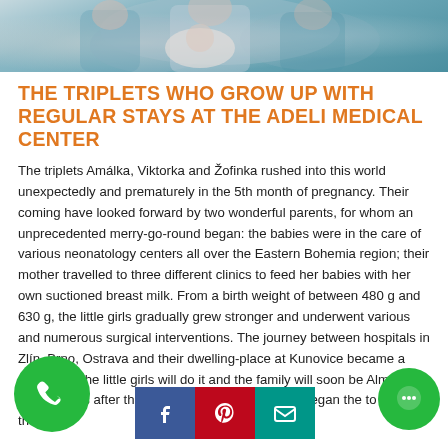[Figure (photo): Partial photo showing people, likely medical/family setting with muted blue/teal tones at top of page]
THE TRIPLETS WHO GROW UP WITH REGULAR STAYS AT THE ADELI MEDICAL CENTER
The triplets Amálka, Viktorka and Žofinka rushed into this world unexpectedly and prematurely in the 5th month of pregnancy. Their coming have looked forward by two wonderful parents, for whom an unprecedented merry-go-round began: the babies were in the care of various neonatology centers all over the Eastern Bohemia region; their mother travelled to three different clinics to feed her babies with her own suctioned breast milk. From a birth weight of between 480 g and 630 g, the little girls gradually grew stronger and underwent various and numerous surgical interventions. The journey between hospitals in Zlín, Brno, Ostrava and their dwelling-place at Kunovice became a route of at the little girls will do it and the family will soon be Almost nine months after the birth of the girls, the family began the to their der one roof.